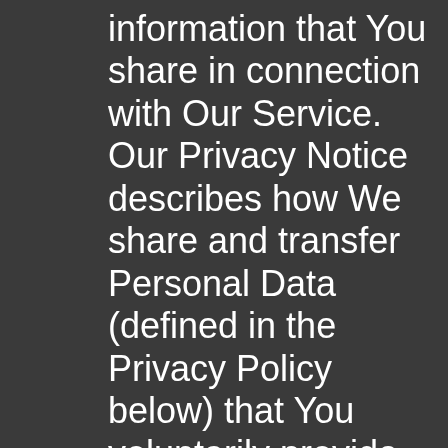information that You share in connection with Our Service. Our Privacy Notice describes how We share and transfer Personal Data (defined in the Privacy Policy below) that You voluntarily provide Us and Our Privacy Policy provides a more detailed description of how We collect, process and manage Your Personal Data and informs You of Your rights with respect the privacy practices associated with the, use, and disclosure of Personal Data through the Site and Service. TRANSFORMATION23BN.BLOGSPOT.C may provide additional notices